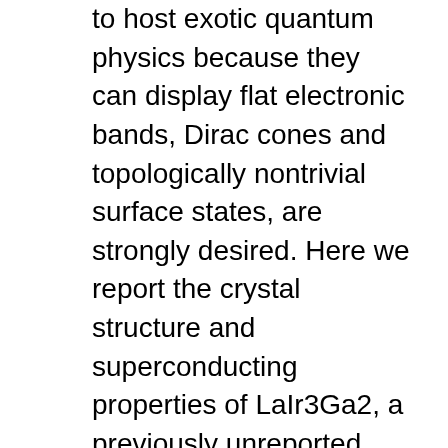to host exotic quantum physics because they can display flat electronic bands, Dirac cones and topologically nontrivial surface states, are strongly desired. Here we report the crystal structure and superconducting properties of LaIr3Ga2, a previously unreported material that is based on a Kagome lattice of